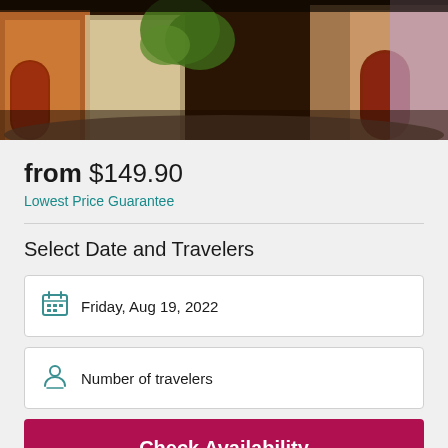[Figure (photo): Colorful European cobblestone street scene with historic buildings, wooden doors, and greenery]
from $149.90
Lowest Price Guarantee
Select Date and Travelers
Friday, Aug 19, 2022
Number of travelers
Check Availability
Free cancellation